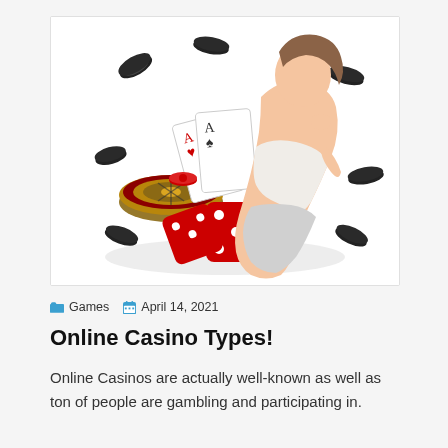[Figure (photo): Casino-themed promotional image showing a young Asian woman in a white outfit sitting among large red dice, poker chips, and a roulette wheel on a white background.]
Games  April 14, 2021
Online Casino Types!
Online Casinos are actually well-known as well as ton of people are gambling and participating in.